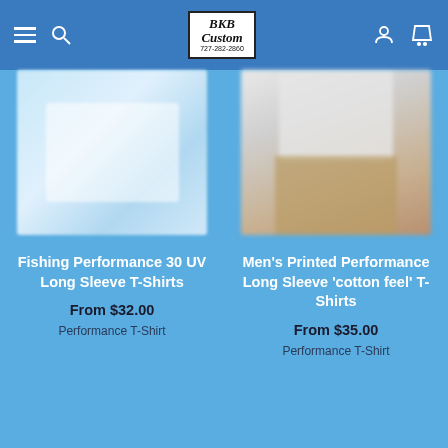BKB Custom 727-282-2860 — navigation header with menu, search, account, cart icons
[Figure (photo): Blurred product image of a light blue fishing performance long sleeve t-shirt]
Fishing Performance 30 UV Long Sleeve T-Shirts
From $32.00
Performance T-Shirt
[Figure (photo): Blurred product image of a person wearing a white men's printed performance long sleeve t-shirt with khaki pants]
Men's Printed Performance Long Sleeve 'cotton feel' T-Shirts
From $35.00
Performance T-Shirt